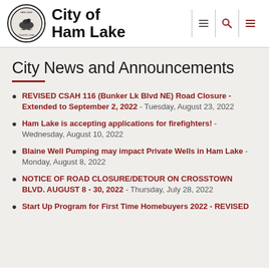City of Ham Lake
City News and Announcements
REVISED CSAH 116 (Bunker Lk Blvd NE) Road Closure - Extended to September 2, 2022 - Tuesday, August 23, 2022
Ham Lake is accepting applications for firefighters! - Wednesday, August 10, 2022
Blaine Well Pumping may impact Private Wells in Ham Lake - Monday, August 8, 2022
NOTICE OF ROAD CLOSURE/DETOUR ON CROSSTOWN BLVD. AUGUST 8 - 30, 2022 - Thursday, July 28, 2022
Start Up Program for First Time Homebuyers 2022 - REVISED